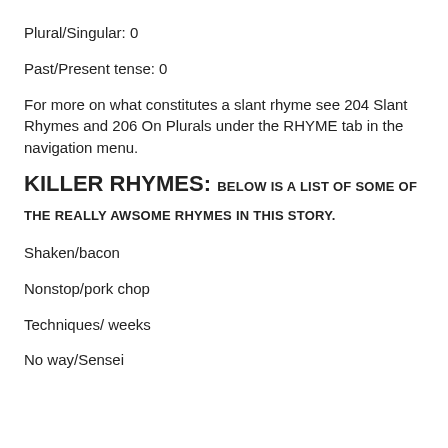Plural/Singular: 0
Past/Present tense: 0
For more on what constitutes a slant rhyme see 204 Slant Rhymes and 206 On Plurals under the RHYME tab in the navigation menu.
KILLER RHYMES: BELOW IS A LIST OF SOME OF THE REALLY AWSOME RHYMES IN THIS STORY.
Shaken/bacon
Nonstop/pork chop
Techniques/ weeks
No way/Sensei